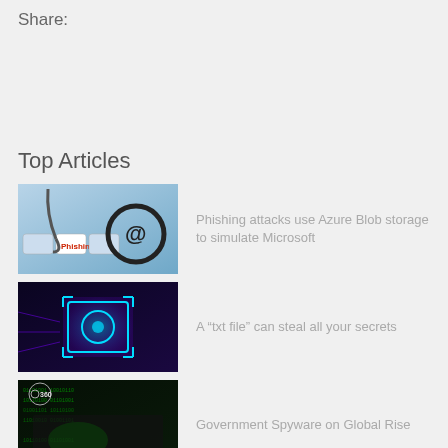Share:
Top Articles
[Figure (photo): Phishing key on keyboard with @ symbol and fishing hook]
Phishing attacks use Azure Blob storage to simulate Microsoft
[Figure (photo): Glowing blue digital safe/lock icon on dark background]
A “txt file” can steal all your secrets
[Figure (photo): 360 logo with dark digital/green background surveillance image]
Government Spyware on Global Rise